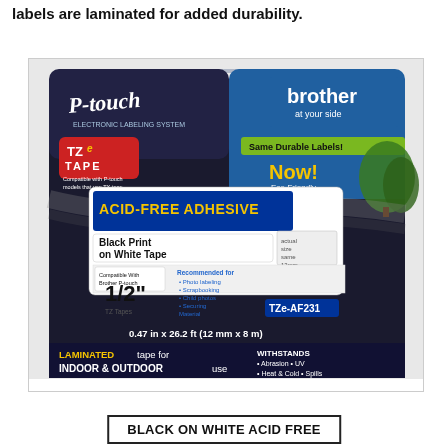labels are laminated for added durability.
[Figure (photo): Brother P-touch TZe-AF231 tape product packaging. Black package with blue and white design. Features TZe tape logo in red, 'ACID-FREE ADHESIVE' in yellow, 'Black Print on White Tape', size 1/2 inch (0.47 in x 26.2 ft / 12 mm x 8 m), model TZe-AF231. Brother logo top right. 'Now! Eco-Friendly Packaging' banner. 'LAMINATED tape for INDOOR & OUTDOOR use. WITHSTANDS Abrasion, UV, Heat & Cold, Spills.']
BLACK ON WHITE ACID FREE